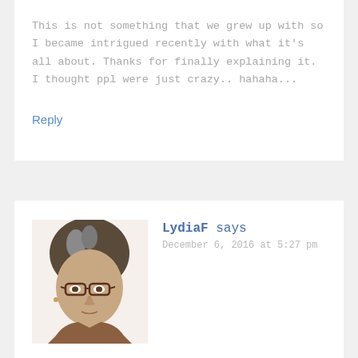This is not something that we grew up with so I became intrigued recently with what it's all about. Thanks for finally explaining it. I thought ppl were just crazy.. hahaha...
Reply
LydiaF says
December 6, 2016 at 5:27 pm
[Figure (photo): Profile photo of a woman with gray-streaked dark hair, wearing glasses and a brown top, photographed indoors against a white background.]